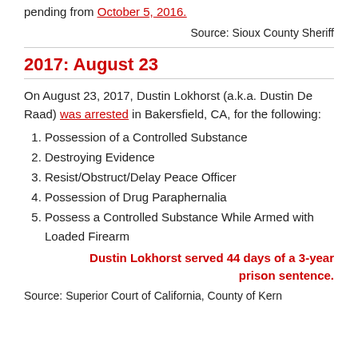pending from October 5, 2016.
Source: Sioux County Sheriff
2017: August 23
On August 23, 2017, Dustin Lokhorst (a.k.a. Dustin De Raad) was arrested in Bakersfield, CA, for the following:
Possession of a Controlled Substance
Destroying Evidence
Resist/Obstruct/Delay Peace Officer
Possession of Drug Paraphernalia
Possess a Controlled Substance While Armed with Loaded Firearm
Dustin Lokhorst served 44 days of a 3-year prison sentence.
Source: Superior Court of California, County of Kern